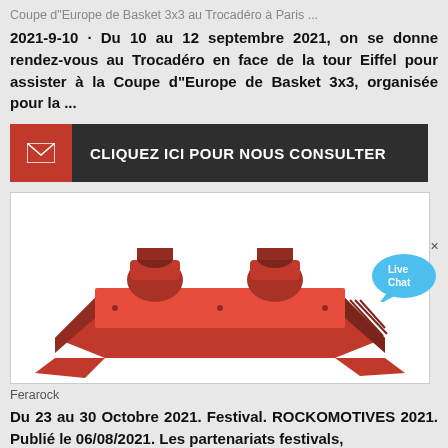Coupe d"Europe de Basket 3x3 au Trocadéro à Paris ...
2021-9-10 · Du 10 au 12 septembre 2021, on se donne rendez-vous au Trocadéro en face de la tour Eiffel pour assister à la Coupe d"Europe de Basket 3x3, organisée pour la ...
[Figure (other): Dark banner with red mail icon and white text: CLIQUEZ ICI POUR NOUS CONSULTER]
[Figure (photo): Orange industrial vibratory screening/crushing machine (Ferarock equipment) on white background]
Ferarock
Du 23 au 30 Octobre 2021. Festival. ROCKOMOTIVES 2021. Publié le 06/08/2021. Les partenariats festivals,